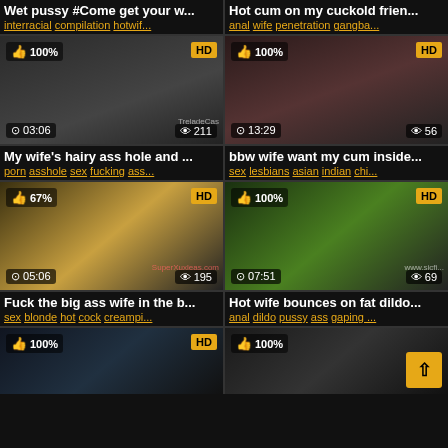[Figure (screenshot): Video thumbnail grid showing adult content video listings with thumbnails, titles, tags, duration, view counts]
Wet pussy #Come get your w... interracial compilation hotwif...
Hot cum on my cuckold frien... anal wife penetration gangba...
My wife's hairy ass hole and ... porn asshole sex fucking ass...
bbw wife want my cum inside... sex lesbians asian indian chi...
Fuck the big ass wife in the b... sex blonde hot cock creampi...
Hot wife bounces on fat dildo... anal dildo pussy ass gaping ...